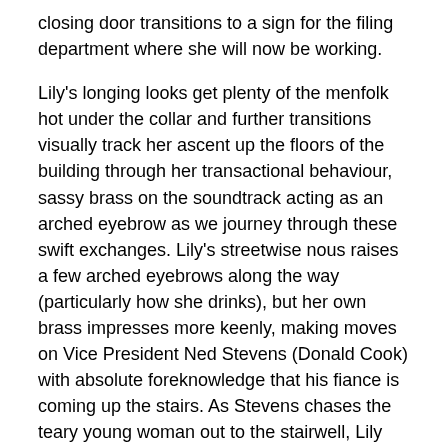closing door transitions to a sign for the filing department where she will now be working.
Lily's longing looks get plenty of the menfolk hot under the collar and further transitions visually track her ascent up the floors of the building through her transactional behaviour, sassy brass on the soundtrack acting as an arched eyebrow as we journey through these swift exchanges. Lily's streetwise nous raises a few arched eyebrows along the way (particularly how she drinks), but her own brass impresses more keenly, making moves on Vice President Ned Stevens (Donald Cook) with absolute foreknowledge that his fiance is coming up the stairs. As Stevens chases the teary young woman out to the stairwell, Lily smokes an almost post-coital cigarette, satisfied with a job well done. Stevens is just another rung on the ladder.
Director Alfred E. Green makes sure that we're enjoying